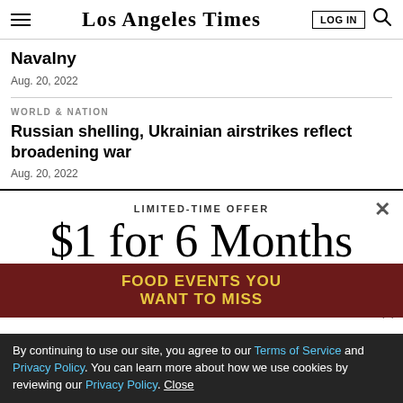Los Angeles Times
Navalny
Aug. 20, 2022
WORLD & NATION
Russian shelling, Ukrainian airstrikes reflect broadening war
Aug. 20, 2022
LIMITED-TIME OFFER
$1 for 6 Months
SUBSCRIBE NOW
By continuing to use our site, you agree to our Terms of Service and Privacy Policy. You can learn more about how we use cookies by reviewing our Privacy Policy. Close